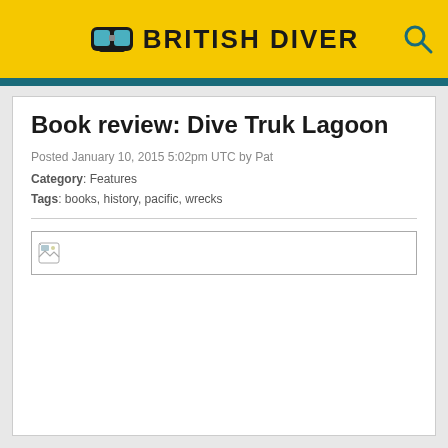BRITISH DIVER
Book review: Dive Truk Lagoon
Posted January 10, 2015 5:02pm UTC by Pat
Category: Features
Tags: books, history, pacific, wrecks
[Figure (photo): Broken image placeholder (book cover image failed to load)]